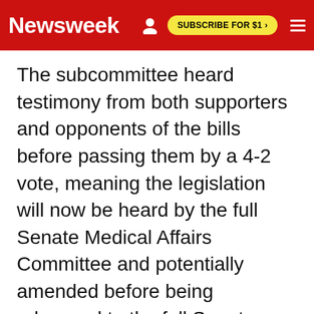Newsweek | SUBSCRIBE FOR $1 >
The subcommittee heard testimony from both supporters and opponents of the bills before passing them by a 4-2 vote, meaning the legislation will now be heard by the full Senate Medical Affairs Committee and potentially amended before being advanced to the full Senate or voted down, according to The Post and Courier.